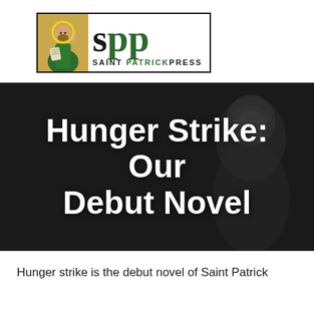[Figure (logo): Saint Patrick Press logo with icon of a saint figure on the left and bold 'SPP' letters with 'SAINT PATRICK PRESS' text below]
[Figure (illustration): Dark hero banner with a faint illustration of a robed figure in the background and bold white text reading 'Hunger Strike: Our Debut Novel']
Hunger Strike: Our Debut Novel
Hunger strike is the debut novel of Saint Patrick